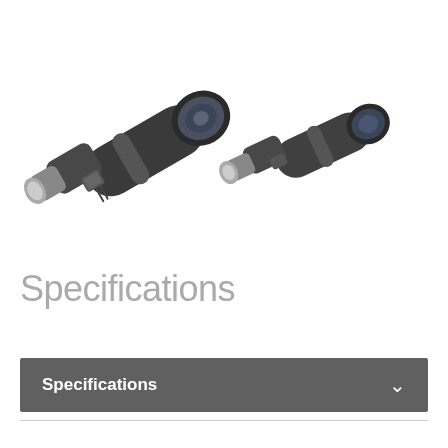[Figure (photo): Two angled spotting scopes (telescopes) in dark gray/black finish, side by side. Left scope is larger with visible objective lens, right scope is smaller. Both have angled eyepiece housings.]
Specifications
Specifications